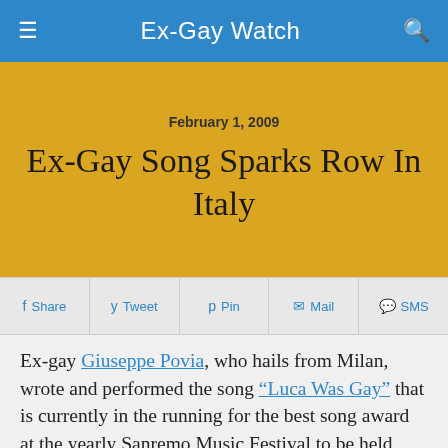Ex-Gay Watch
February 1, 2009
Ex-Gay Song Sparks Row In Italy
Share  Tweet  Pin  Mail  SMS
Ex-gay Giuseppe Povia, who hails from Milan, wrote and performed the song “Luca Was Gay” that is currently in the running for the best song award at the yearly Sanremo Music Festival to be held next month in Italy. He claims that two of his friends also converted to heterosexuality and got married after he convinced them to change.